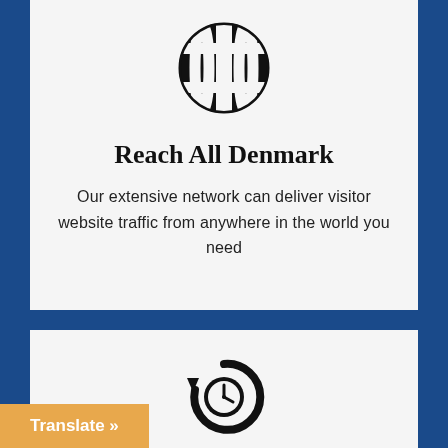[Figure (illustration): Globe/world icon in black, grid pattern]
Reach All Denmark
Our extensive network can deliver visitor website traffic from anywhere in the world you need
[Figure (illustration): History/refresh clock icon in black]
Instant Activation
Translate »